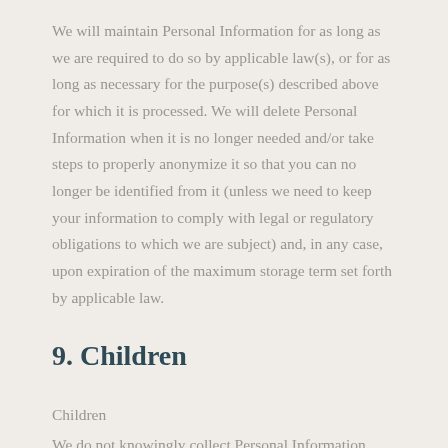We will maintain Personal Information for as long as we are required to do so by applicable law(s), or for as long as necessary for the purpose(s) described above for which it is processed. We will delete Personal Information when it is no longer needed and/or take steps to properly anonymize it so that you can no longer be identified from it (unless we need to keep your information to comply with legal or regulatory obligations to which we are subject) and, in any case, upon expiration of the maximum storage term set forth by applicable law.
9. Children
Children
We do not knowingly collect Personal Information from children under the age of 16, and users under the age of 16